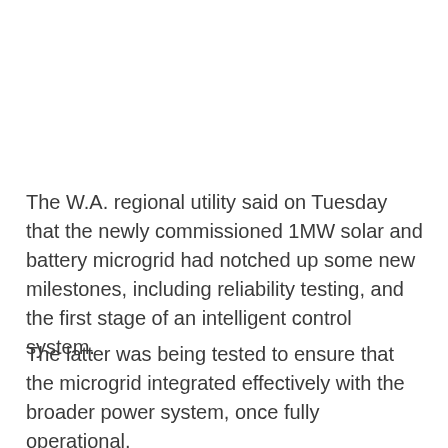The W.A. regional utility said on Tuesday that the newly commissioned 1MW solar and battery microgrid had notched up some new milestones, including reliability testing, and the first stage of an intelligent control system.
The latter was being tested to ensure that the microgrid integrated effectively with the broader power system, once fully operational.